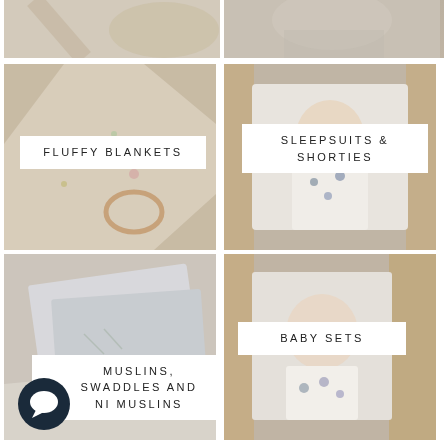[Figure (photo): Partial top-left photo showing baby items with floral fabric]
[Figure (photo): Partial top-right photo showing baby lying in basket]
[Figure (photo): Fluffy blankets product photo - floral fabric in wicker basket with label FLUFFY BLANKETS]
[Figure (photo): Sleepsuits and shorties product photo - baby in printed sleepsuit in wicker basket with label SLEEPSUITS & SHORTIES]
[Figure (photo): Muslins swaddles and mini muslins product photo - folded grey muslin with label MUSLINS, SWADDLES AND NI MUSLINS]
[Figure (photo): Baby sets product photo - baby in white bodysuit in wicker basket with label BABY SETS]